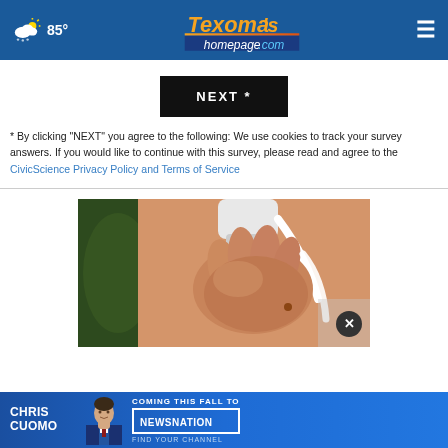85° Texoma's homepage.com
NEXT *
* By clicking "NEXT" you agree to the following: We use cookies to track your survey answers. If you would like to continue with this survey, please read and agree to the CivicScience Privacy Policy and Terms of Service
[Figure (photo): Close-up medical image of a hand holding an ultrasound probe against skin, possibly a neck or joint examination]
[Figure (infographic): Advertisement banner for Chris Cuomo coming to NewsNation this fall, featuring a headshot of Chris Cuomo in a suit]